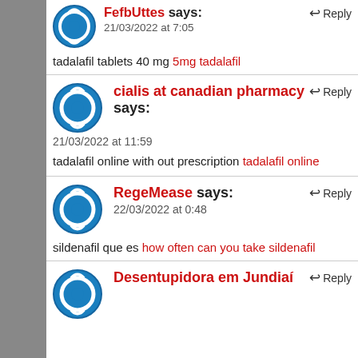FefbUttes says: 21/03/2022 at 7:05
tadalafil tablets 40 mg 5mg tadalafil
cialis at canadian pharmacy says: 21/03/2022 at 11:59
tadalafil online with out prescription tadalafil online
RegeMease says: 22/03/2022 at 0:48
sildenafil que es how often can you take sildenafil
Desentupidora em Jundiaí